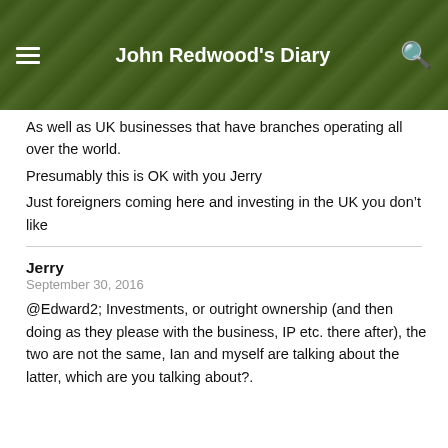John Redwood's Diary
As well as UK businesses that have branches operating all over the world.
Presumably this is OK with you Jerry
Just foreigners coming here and investing in the UK you don’t like
Jerry
September 30, 2016
@Edward2; Investments, or outright ownership (and then doing as they please with the business, IP etc. there after), the two are not the same, Ian and myself are talking about the latter, which are you talking about?.